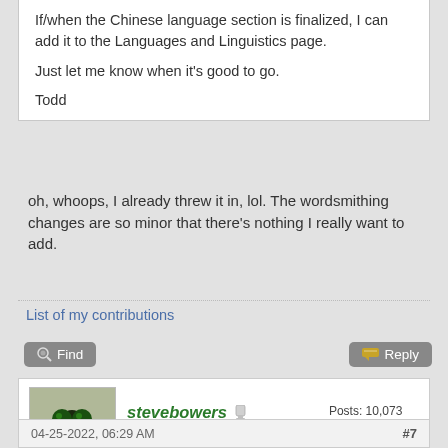If/when the Chinese language section is finalized, I can add it to the Languages and Linguistics page.

Just let me know when it's good to go.

Todd
oh, whoops, I already threw it in, lol. The wordsmithing changes are so minor that there's nothing I really want to add.
List of my contributions
Find
Reply
stevebowers
Administrator
★★★★★★★★
Posts: 10,073
Threads: 405
Joined: Apr 2013
04-25-2022, 06:29 AM
#7